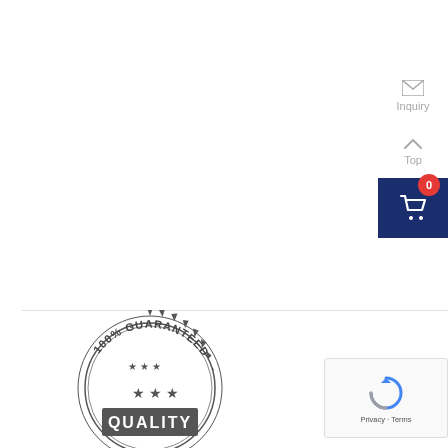[Figure (infographic): Inquiry icon (envelope) and text label, plus Top navigation arrow and label, positioned on right sidebar]
[Figure (infographic): Shopping cart button with dark navy background and red badge showing 0 items]
[Figure (illustration): 100% Guaranteed Quality badge/stamp in grey, showing text '100% GUARANTEED' around the top arc, stars, and 'QUALITY' in a banner rectangle]
[Figure (illustration): Google reCAPTCHA widget with blue/grey logo, showing Privacy and Terms links]